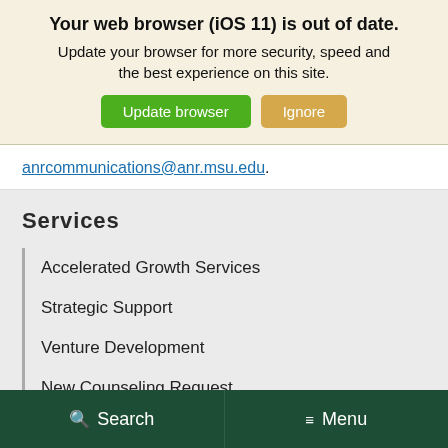Your web browser (iOS 11) is out of date.
Update your browser for more security, speed and the best experience on this site.
Update browser   Ignore
anrcommunications@anr.msu.edu.
Services
Accelerated Growth Services
Strategic Support
Venture Development
New Counseling Request
Search   Menu